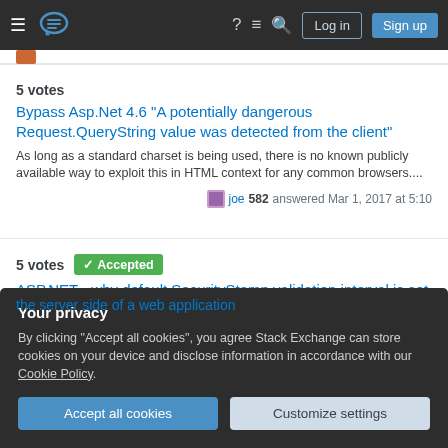Stack Exchange navigation bar with hamburger menu, logo, help, chat, search, Log in and Sign up buttons
5 votes
Bypass Asp.Net 4.6 "A potentially dangerous Request.QueryString value was detected from the client"
As long as a standard charset is being used, there is no known publicly available way to exploit this in HTML context for any common browsers....
joe 582 answered Mar 1, 2017 at 5:10
5 votes  Accepted
ASP.NET - why default SecurityStamp validation interval is set to 30 minutes?
Your privacy
By clicking "Accept all cookies", you agree Stack Exchange can store cookies on your device and disclose information in accordance with our Cookie Policy.
Accept all cookies
Customize settings
the server side of a web application